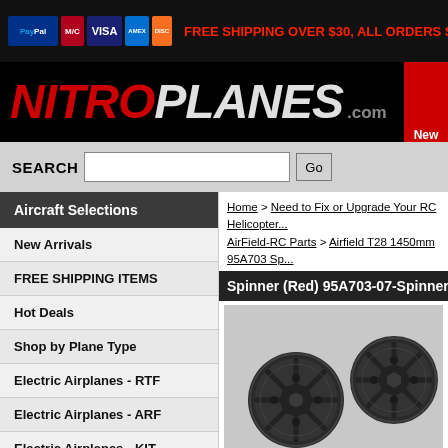[Figure (screenshot): Payment method icons: PayPal, MasterCard, Visa, American Express, Discover]
FREE SHIPPING OVER $30, ALL ORDERS SHIPPING
[Figure (logo): NitroPlanes.com logo in red and white on black background]
New
SEARCH  Go
Aircraft Selections
New Arrivals
FREE SHIPPING ITEMS
Hot Deals
Shop by Plane Type
Electric Airplanes - RTF
Electric Airplanes - ARF
Electric Airplanes - KIT
Nitro Gas RC Planes
RC UAV & Drones
Home > Need to Fix or Upgrade Your RC Helicopter... AirField-RC Parts > Airfield T28 1450mm 95A703 Sp...
Spinner (Red) 95A703-07-Spinner-Re...
[Figure (photo): Two dark grey/black RC airplane spinners on a grey background]